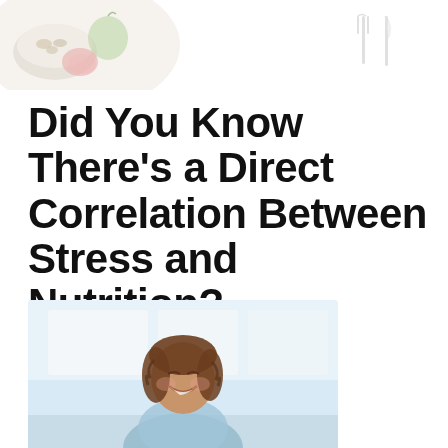[Figure (photo): Header banner with food/nutrition imagery (bowls of food, fruit) on left side and fork/knife cutlery icon on right side, faded/watermark style]
Did You Know There’s a Direct Correlation Between Stress and Nutrition?
by Nutrition Consultants On Demand
[Figure (photo): Photo of a smiling young woman with curly hair in a kitchen or bright room, light blue/white background]